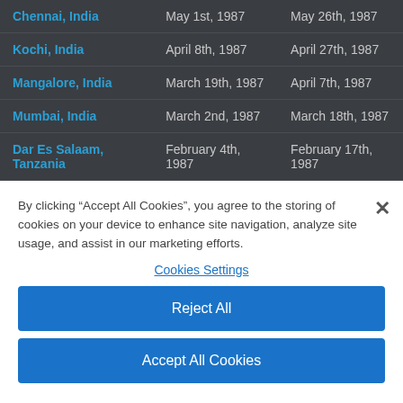| Location | Arrival | Departure |
| --- | --- | --- |
| Chennai, India | May 1st, 1987 | May 26th, 1987 |
| Kochi, India | April 8th, 1987 | April 27th, 1987 |
| Mangalore, India | March 19th, 1987 | April 7th, 1987 |
| Mumbai, India | March 2nd, 1987 | March 18th, 1987 |
| Dar Es Salaam, Tanzania | February 4th, 1987 | February 17th, 1987 |
By clicking “Accept All Cookies”, you agree to the storing of cookies on your device to enhance site navigation, analyze site usage, and assist in our marketing efforts.
Cookies Settings
Reject All
Accept All Cookies